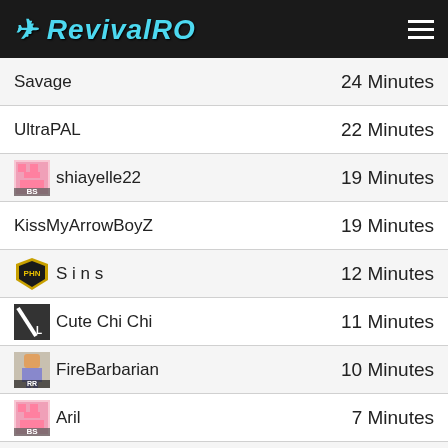RevivalRO
Savage — 24 Minutes
UltraPAL — 22 Minutes
shiayelle22 — 19 Minutes
KissMyArrowBoyZ — 19 Minutes
S i n s — 12 Minutes
Cute Chi Chi — 11 Minutes
FireBarbarian — 10 Minutes
Aril — 7 Minutes
7 Minutes